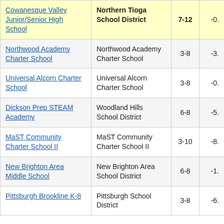| School | District | Grades | Value |
| --- | --- | --- | --- |
| Cowanesque Valley Junior/Senior High School | Northern Tioga School District | 7-12 | -0. |
| Northwood Academy Charter School | Northwood Academy Charter School | 3-8 | -3. |
| Universal Alcorn Charter School | Universal Alcorn Charter School | 3-8 | -0. |
| Dickson Prep STEAM Academy | Woodland Hills School District | 6-8 | -5. |
| MaST Community Charter School II | MaST Community Charter School II | 3-10 | -8. |
| New Brighton Area Middle School | New Brighton Area School District | 6-8 | -1. |
| Pittsburgh Brookline K-8 | Pittsburgh School District | 3-8 | -6. |